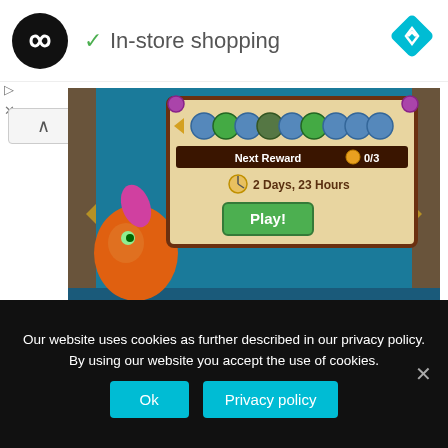[Figure (screenshot): Top navigation bar with a circular black logo with infinity symbol, a green checkmark and 'In-store shopping' text, and a blue diamond navigation icon on the right]
[Figure (screenshot): Mobile game screenshot showing Healing Waves event UI with reward icons, 'Next Reward 0/3' bar, '2 Days, 23 Hours' timer, and a green 'Play!' button, with a cartoon orange dragon character]
Previous Healing Waves Event Rewards : July 2019
[Figure (illustration): A gray filled star icon]
Our website uses cookies as further described in our privacy policy. By using our website you accept the use of cookies.
Ok
Privacy policy